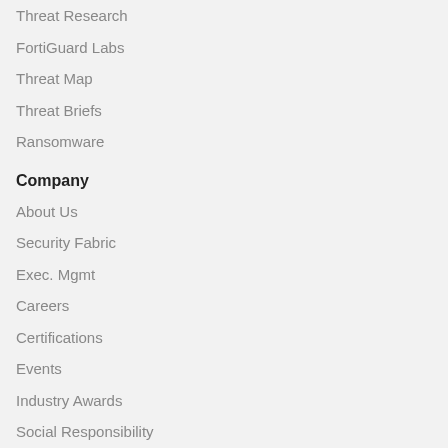Threat Research
FortiGuard Labs
Threat Map
Threat Briefs
Ransomware
Company
About Us
Security Fabric
Exec. Mgmt
Careers
Certifications
Events
Industry Awards
Social Responsibility